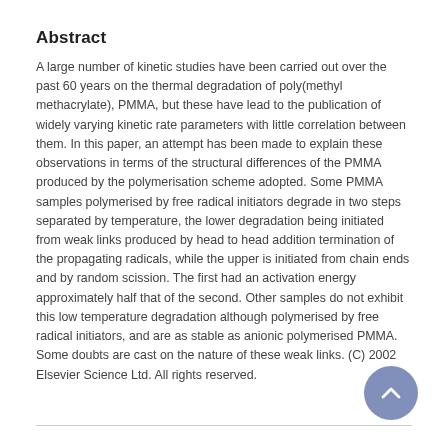Abstract
A large number of kinetic studies have been carried out over the past 60 years on the thermal degradation of poly(methyl methacrylate), PMMA, but these have lead to the publication of widely varying kinetic rate parameters with little correlation between them. In this paper, an attempt has been made to explain these observations in terms of the structural differences of the PMMA produced by the polymerisation scheme adopted. Some PMMA samples polymerised by free radical initiators degrade in two steps separated by temperature, the lower degradation being initiated from weak links produced by head to head addition termination of the propagating radicals, while the upper is initiated from chain ends and by random scission. The first had an activation energy approximately half that of the second. Other samples do not exhibit this low temperature degradation although polymerised by free radical initiators, and are as stable as anionic polymerised PMMA. Some doubts are cast on the nature of these weak links. (C) 2002 Elsevier Science Ltd. All rights reserved.